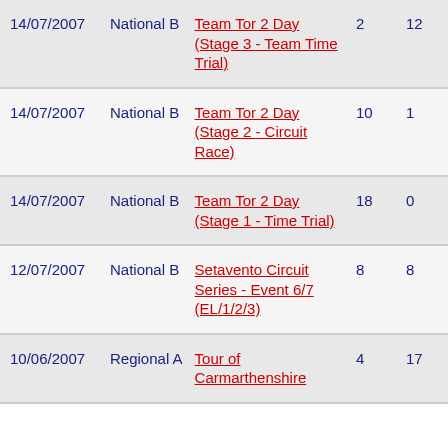| Date | Category | Race | Col4 | Col5 |
| --- | --- | --- | --- | --- |
| 14/07/2007 | National B | Team Tor 2 Day (Stage 3 - Team Time Trial) | 2 | 12 |
| 14/07/2007 | National B | Team Tor 2 Day (Stage 2 - Circuit Race) | 10 | 1 |
| 14/07/2007 | National B | Team Tor 2 Day (Stage 1 - Time Trial) | 18 | 0 |
| 12/07/2007 | National B | Setavento Circuit Series - Event 6/7 (EL/1/2/3) | 8 | 8 |
| 10/06/2007 | Regional A | Tour of Carmarthenshire | 4 | 17 |